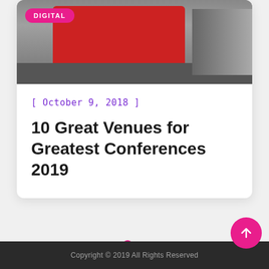[Figure (photo): Photo of a red London double-decker bus on a busy street with pedestrians in the background. A pink 'DIGITAL' badge overlays the top-left corner of the image.]
[ October 9, 2018 ]
10 Great Venues for Greatest Conferences 2019
Copyright © 2019 All Rights Reserved